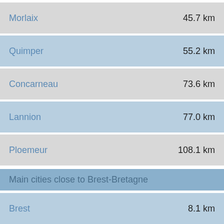| City | Distance |
| --- | --- |
| Morlaix | 45.7 km |
| Quimper | 55.2 km |
| Concarneau | 73.6 km |
| Lannion | 77.0 km |
| Ploemeur | 108.1 km |
Main cities close to Brest-Bretagne
| City | Distance |
| --- | --- |
| Brest | 8.1 km |